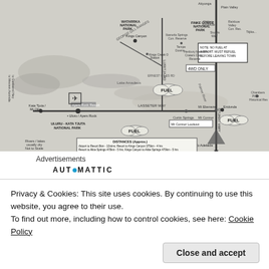[Figure (map): Road map of central Australia showing Uluru-Kata Tjuta National Park, Ayers Rock Resort, Kings Canyon, Alice Springs area, Watarrka National Park, Finke Gorge National Park, Henbury Meteorite Craters, Eridunda, Stuart Hwy, Lasseter Way, fuel stops, distances table, and note about no fuel at airport]
Advertisements
AUTOMATTIC
Privacy & Cookies: This site uses cookies. By continuing to use this website, you agree to their use.
To find out more, including how to control cookies, see here: Cookie Policy